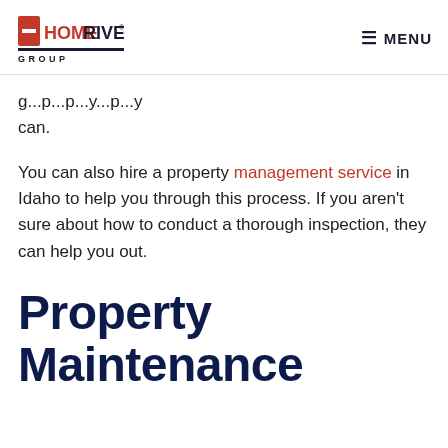HomeRiver Group | MENU
g...p...p...y...p...y can.
You can also hire a property management service in Idaho to help you through this process. If you aren't sure about how to conduct a thorough inspection, they can help you out.
Property Maintenance